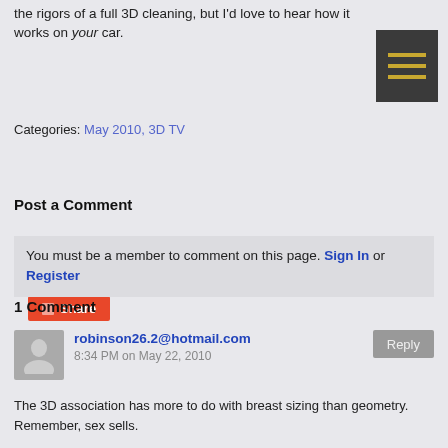the rigors of a full 3D cleaning, but I'd love to hear how it works on your car.
[Figure (other): Dark grey hamburger menu icon with three horizontal gold/yellow lines]
Categories: May 2010, 3D TV
[Figure (other): Red Share button with square icon]
Post a Comment
You must be a member to comment on this page. Sign In or Register
1 Comment
robinson26.2@hotmail.com
8:34 PM on May 22, 2010
The 3D association has more to do with breast sizing than geometry. Remember, sex sells.